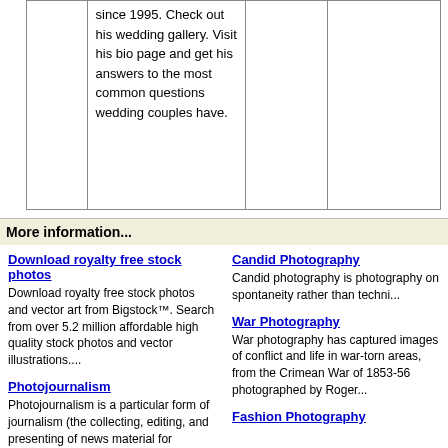|  | since 1995. Check out his wedding gallery. Visit his bio page and get his answers to the most common questions wedding couples have. |  |  |
More information...
Download royalty free stock photos
Download royalty free stock photos and vector art from Bigstock™. Search from over 5.2 million affordable high quality stock photos and vector illustrations....
Candid Photography
Candid photography is photography on spontaneity rather than techni...
Photojournalism
Photojournalism is a particular form of journalism (the collecting, editing, and presenting of news material for publication or broadcast) ...
War Photography
War photography has captured images of conflict and life in war-torn areas, from the Crimean War of 1853-56 photographed by Roger...
Wedding Photography
Fashion Photography